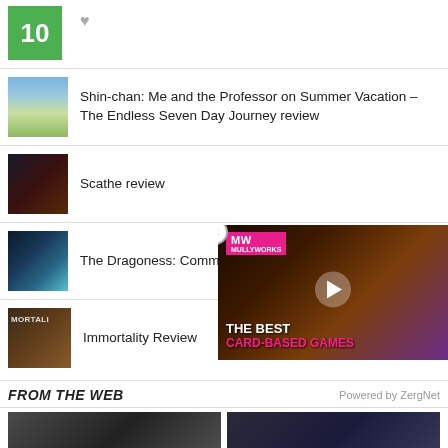10
Shin-chan: Me and the Professor on Summer Vacation – The Endless Seven Day Journey review
Scathe review
The Dragoness: Command of the Flame review
Immortality Review
[Figure (screenshot): Ad overlay for MullyWorks video about 'THE BEST CARD-BASED GAMES' with play button and close button]
FROM THE WEB
Powered by ZergNet